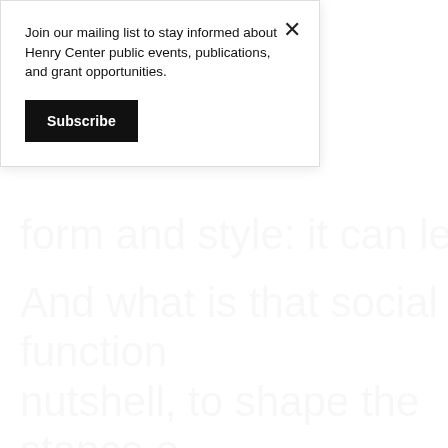Join our mailing list to stay informed about Henry Center public events, publications, and grant opportunities.
Subscribe
form and style: it can lead to cl
And what is that social function nutshell, to shape the stance o audiences toward their lives in their worldview. It is a highly se telling of events, a kind of front story of “us,” the big story that